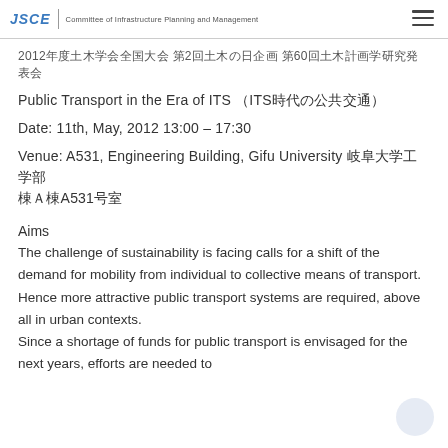JSCE | Committee of Infrastructure Planning and Management
2012年度土木学会全国大会 第2回土木の日企画 第60回土木計画学研究発表会
Public Transport in the Era of ITS （ITS時代の公共交通）
Date: 11th, May, 2012 13:00 – 17:30
Venue: A531, Engineering Building, Gifu University 岐阜大学工学部 棟Ａ棟A531号室
Aims
The challenge of sustainability is facing calls for a shift of the demand for mobility from individual to collective means of transport.
Hence more attractive public transport systems are required, above all in urban contexts.
Since a shortage of funds for public transport is envisaged for the next years, efforts are needed to